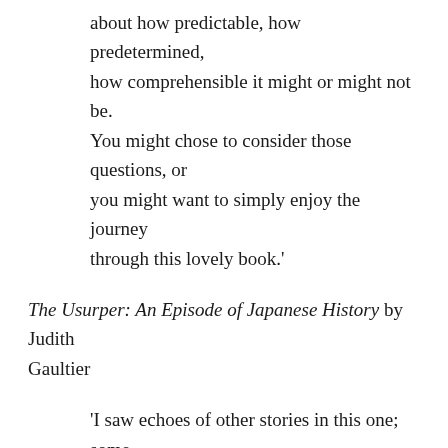about how predictable, how predetermined, how comprehensible it might or might not be. You might chose to consider those questions, or you might want to simply enjoy the journey through this lovely book.'
The Usurper: An Episode of Japanese History by Judith Gaultier
'I saw echoes of other stories in this one; some older stories and myths and some literature from closer to the authors own era. And though the setting is seventeenth century Japan there is much in her story that is timeless and universal. This is a very human story; a little predictable in places but well thought out and constructed.